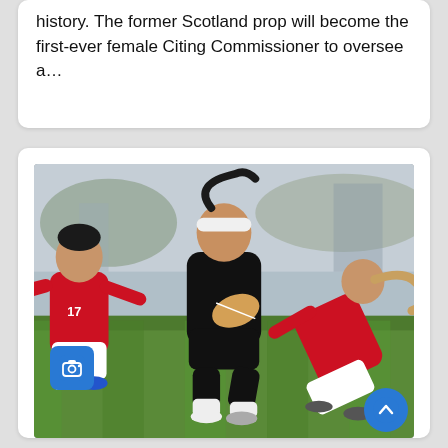history. The former Scotland prop will become the first-ever female Citing Commissioner to oversee a...
[Figure (photo): Women's rugby match: a player in black (All Blacks) carrying the ball is tackled by two players in red jerseys on a grass field. A camera icon button is visible bottom-left and a scroll-to-top button bottom-right.]